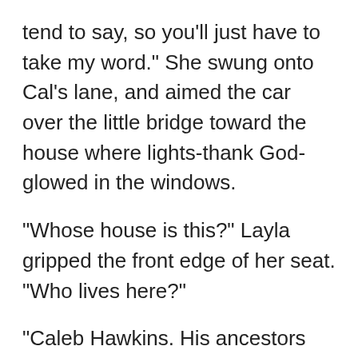tend to say, so you'll just have to take my word." She swung onto Cal's lane, and aimed the car over the little bridge toward the house where lights-thank God-glowed in the windows.
"Whose house is this?" Layla gripped the front edge of her seat. "Who lives here?"
"Caleb Hawkins. His ancestors founded the town. He's okay. He knows about what we saw."
"How?"
"It's a long story, with a lot of holes in it. And